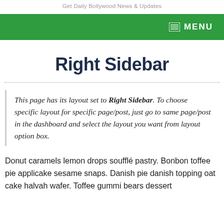Get Daily Bollywood News & Updates
MENU
Right Sidebar
This page has its layout set to Right Sidebar. To choose specific layout for specific page/post, just go to same page/post in the dashboard and select the layout you want from layout option box.
Donut caramels lemon drops soufflé pastry. Bonbon toffee pie applicake sesame snaps. Danish pie danish topping oat cake halvah wafer. Toffee gummi bears dessert